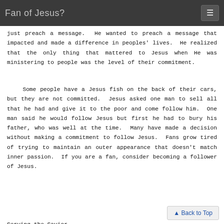Fan of Jesus?
just preach a message.  He wanted to preach a message that impacted and made a difference in peoples' lives.  He realized that the only thing that mattered to Jesus when He was ministering to people was the level of their commitment.
Some people have a Jesus fish on the back of their cars, but they are not committed.  Jesus asked one man to sell all that he had and give it to the poor and come follow him.  One man said he would follow Jesus but first he had to bury his father, who was well at the time.  Many have made a decision without making a commitment to follow Jesus.  Fans grow tired of trying to maintain an outer appearance that doesn't match inner passion.  If you are a fan, consider becoming a follower of Jesus.
Serving the Savior,